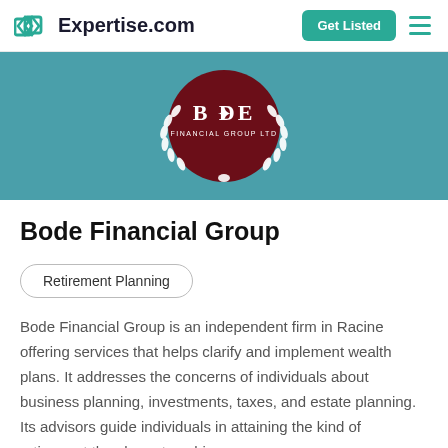Expertise.com | Get Listed
[Figure (logo): Bode Financial Group Ltd circular crest logo with laurel wreath on teal background banner]
Bode Financial Group
Retirement Planning
Bode Financial Group is an independent firm in Racine offering services that helps clarify and implement wealth plans. It addresses the concerns of individuals about business planning, investments, taxes, and estate planning. Its advisors guide individuals in attaining the kind of retirement they hope to achieve,